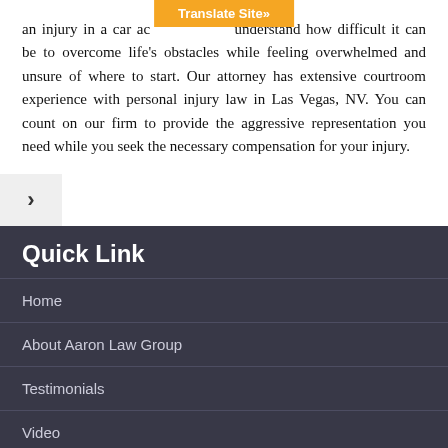an injury in a car accident, we understand how difficult it can be to overcome life's obstacles while feeling overwhelmed and unsure of where to start. Our attorney has extensive courtroom experience with personal injury law in Las Vegas, NV. You can count on our firm to provide the aggressive representation you need while you seek the necessary compensation for your injury.
Quick Link
Home
About Aaron Law Group
Testimonials
Video